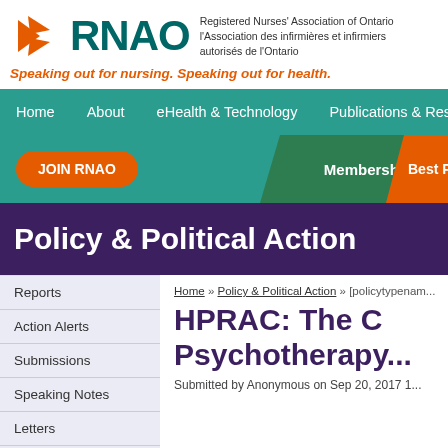[Figure (logo): RNAO logo with orange leaf/arrow icon and teal RNAO text, plus organization names in English and French]
Registered Nurses' Association of Ontario l'Association des infirmières et infirmiers autorisés de l'Ontario
Speaking out for nursing. Speaking out for health.
Home   About   eHealth & Technology   Publications & Resources
JOIN RNAO
Membership
Best Pra
Policy & Political Action
Reports
Action Alerts
Submissions
Speaking Notes
Letters
Areas of Focus
Home » Policy & Political Action » [policytypenam...
HPRAC: The C... Psychotherapy...
Submitted by Anonymous on Sep 20, 2017 1...